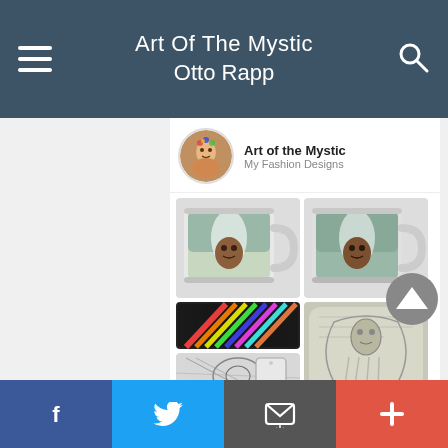Art Of The Mystic
Otto Rapp
Art of the Mystic
My Fashion Designs
[Figure (photo): Two decorative coffee mugs featuring mystic face artwork with waterfall and nature imagery]
[Figure (photo): Colorful abstract art phone case (top left), pencil sketch phone case (bottom left), decorative throw pillow with pencil sketch art (right)]
[Figure (photo): Two product cards: left shows owl skull artwork labeled OWLY, right shows woman on stairs labeled FLOWER POWER]
[Figure (photo): Two more product thumbnails at bottom of grid]
f  (twitter)  (email)  +